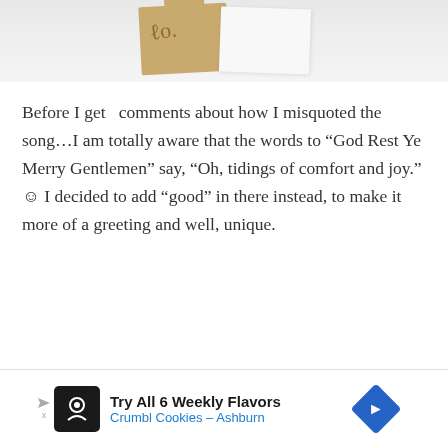[Figure (photo): Photo of kraft paper card with tab and white card against light background]
Before I get  comments about how I misquoted the song…I am totally aware that the words to “God Rest Ye Merry Gentlemen” say, “Oh, tidings of comfort and joy.” ☺ I decided to add “good” in there instead, to make it more of a greeting and well, unique.
[Figure (advertisement): Crumbl Cookies ad — Try All 6 Weekly Flavors, Crumbl Cookies - Ashburn]